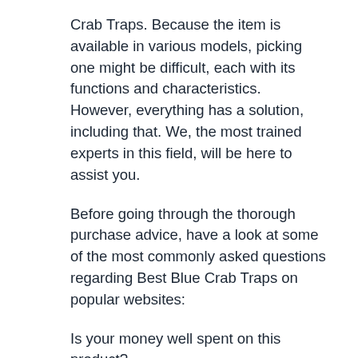Crab Traps. Because the item is available in various models, picking one might be difficult, each with its functions and characteristics. However, everything has a solution, including that. We, the most trained experts in this field, will be here to assist you.
Before going through the thorough purchase advice, have a look at some of the most commonly asked questions regarding Best Blue Crab Traps on popular websites:
Is your money well spent on this product?
What benefits does the product provide to customers?
What should buyers consider while determining whether or not to purchase a product?
What is the most popular model of this product currently on the market?
Where should you look for information on a product if you need it?